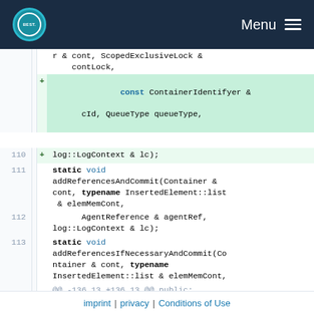BEST | Menu
r & cont, ScopedExclusiveLock & contLock,
+ const ContainerIdentifyer & cId, QueueType queueType,
log::LogContext & lc);
111  111      static void addReferencesAndCommit(Container & cont, typename InsertedElement::list & elemMemCont,
112  112            AgentReference & agentRef, log::LogContext & lc);
113  113      static void addReferencesIfNecessaryAndCommit(Container & cont, typename InsertedElement::list & elemMemCont,
...  ...  @@ -136,13 +136,13 @@ public:
136  136      * are provided existing and owned by algorithm's agent.
137  137          */
imprint | privacy | Conditions of Use